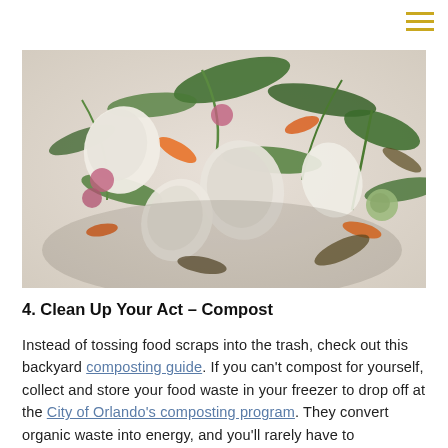[Figure (photo): Close-up photograph of mixed vegetable food scraps and offcuts on a white surface, including leafy greens, carrot peels, onion pieces, and various other colorful vegetable trimmings.]
4. Clean Up Your Act – Compost
Instead of tossing food scraps into the trash, check out this backyard composting guide. If you can't compost for yourself, collect and store your food waste in your freezer to drop off at the City of Orlando's composting program. They convert organic waste into energy, and you'll rarely have to